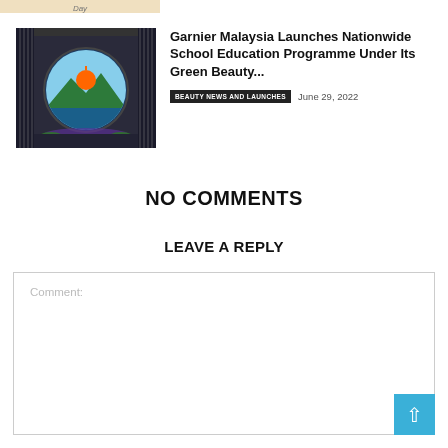[Figure (photo): Partial cropped image strip at top showing partial logo text 'Day']
[Figure (photo): Event photo showing a large circular display with a sunrise/landscape logo, surrounded by LED curtain lights on a stage]
Garnier Malaysia Launches Nationwide School Education Programme Under Its Green Beauty...
BEAUTY NEWS AND LAUNCHES   June 29, 2022
NO COMMENTS
LEAVE A REPLY
Comment: